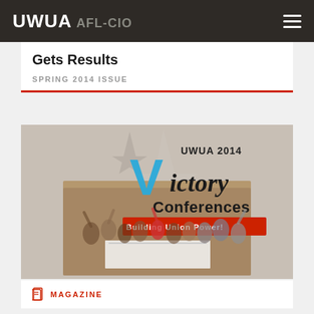UWUA AFL-CIO
Gets Results
SPRING 2014 ISSUE
[Figure (photo): UWUA 2014 Victory Conferences - Building Union Power! promotional image with group photo of union members celebrating]
MAGAZINE